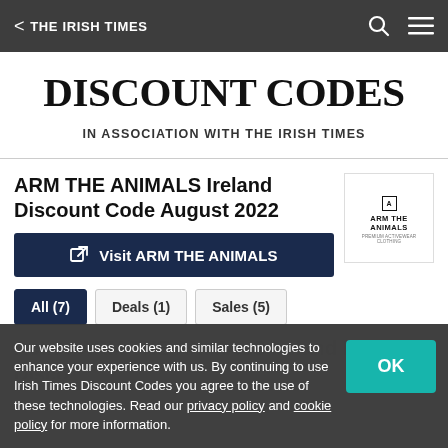< THE IRISH TIMES
DISCOUNT CODES
IN ASSOCIATION WITH THE IRISH TIMES
ARM THE ANIMALS Ireland Discount Code August 2022
Visit ARM THE ANIMALS
All (7)
Deals (1)
Sales (5)
Our website uses cookies and similar technologies to enhance your experience with us. By continuing to use Irish Times Discount Codes you agree to the use of these technologies. Read our privacy policy and cookie policy for more information.